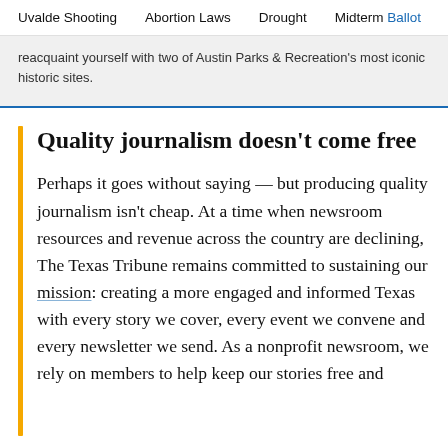Uvalde Shooting   Abortion Laws   Drought   Midterm Ballot
...reacquaint yourself with two of Austin Parks & Recreation's most iconic historic sites.
Quality journalism doesn't come free
Perhaps it goes without saying — but producing quality journalism isn't cheap. At a time when newsroom resources and revenue across the country are declining, The Texas Tribune remains committed to sustaining our mission: creating a more engaged and informed Texas with every story we cover, every event we convene and every newsletter we send. As a nonprofit newsroom, we rely on members to help keep our stories free and